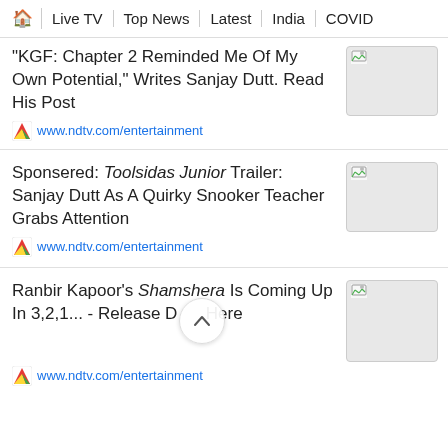🏠 | Live TV | Top News | Latest | India | COVID
"KGF: Chapter 2 Reminded Me Of My Own Potential," Writes Sanjay Dutt. Read His Post
www.ndtv.com/entertainment
Sponsered: Toolsidas Junior Trailer: Sanjay Dutt As A Quirky Snooker Teacher Grabs Attention
www.ndtv.com/entertainment
Ranbir Kapoor's Shamshera Is Coming Up In 3,2,1... - Release Date Here
www.ndtv.com/entertainment